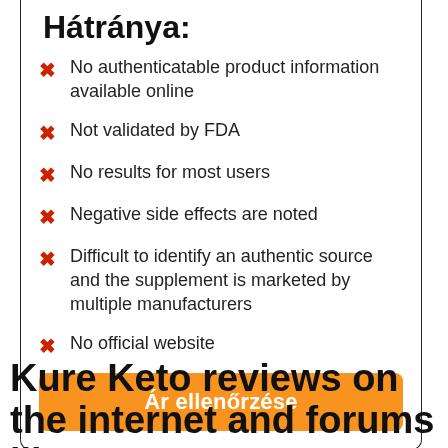Hátránya:
No authenticatable product information available online
Not validated by FDA
No results for most users
Negative side effects are noted
Difficult to identify an authentic source and the supplement is marketed by multiple manufacturers
No official website
Ár ellenőrzése
Kure Keto reviews on the internet and forums like